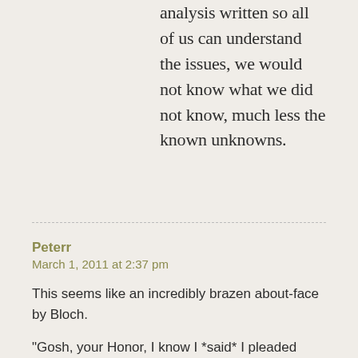analysis written so all of us can understand the issues, we would not know what we did not know, much less the known unknowns.
Peterr
March 1, 2011 at 2:37 pm
This seems like an incredibly brazen about-face by Bloch.
“Gosh, your Honor, I know I *said* I pleaded guilty, and I know I *said* I accepted the consequences of that plea, and I know I *said*